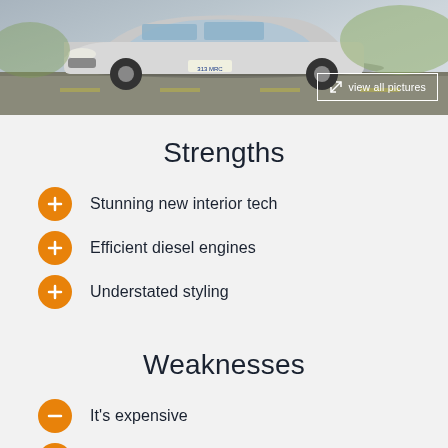[Figure (photo): Front view of a silver Mercedes-Benz car driving on a road, with a 'view all pictures' button overlay in the top-right corner]
Strengths
Stunning new interior tech
Efficient diesel engines
Understated styling
Weaknesses
It's expensive
Not as engaging to drive as rivals